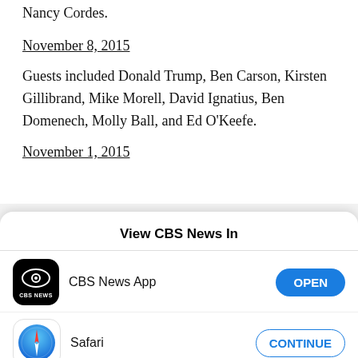Nancy Cordes.
November 8, 2015
Guests included Donald Trump, Ben Carson, Kirsten Gillibrand, Mike Morell, David Ignatius, Ben Domenech, Molly Ball, and Ed O'Keefe.
November 1, 2015
View CBS News In
[Figure (screenshot): CBS News App icon - black background with CBS eye logo and CBS NEWS text]
CBS News App
OPEN
[Figure (screenshot): Safari browser icon - blue circle with compass/needle graphic]
Safari
CONTINUE